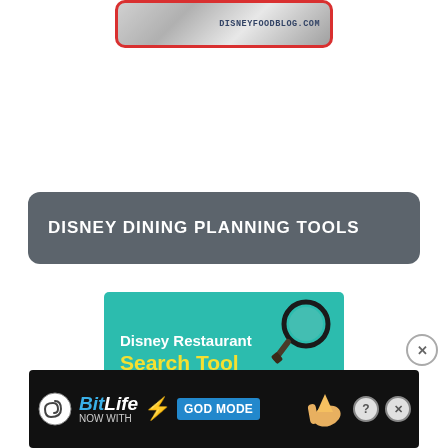[Figure (screenshot): Top banner image with metallic/silver background, red border, rounded rectangle shape, showing text 'DISNEYFOODBLOG.COM']
DISNEY DINING PLANNING TOOLS
[Figure (screenshot): Disney Restaurant Search Tool banner: teal/green background with white text 'Disney Restaurant' and yellow bold text 'Search Tool', with a magnifying glass graphic]
Disney World Restaurant Search Tool
DFB Guide to Walt Disney World Dining
[Figure (screenshot): BitLife advertisement: dark background with BitLife logo, text 'NOW WITH GOD MODE' in blue button, lightning bolt graphic, hand pointing graphic, help and close buttons]